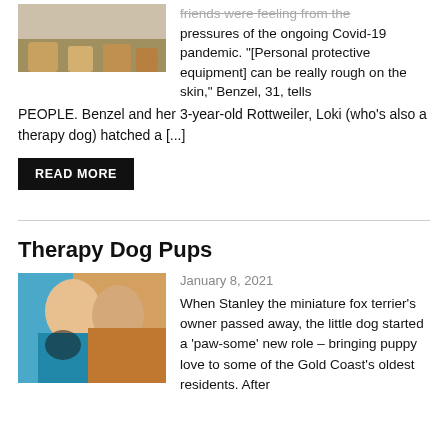[Figure (photo): Partial photo of people's feet/lower legs, appears to be cropped at top]
friends were feeling from the pressures of the ongoing Covid-19 pandemic. "[Personal protective equipment] can be really rough on the skin," Benzel, 31, tells PEOPLE. Benzel and her 3-year-old Rottweiler, Loki (who's also a therapy dog) hatched a [...]
READ MORE
Therapy Dog Pups
[Figure (photo): Two women smiling and holding a small dog, one wearing teal, one wearing a colorful outfit]
January 8, 2021
When Stanley the miniature fox terrier's owner passed away, the little dog started a 'paw-some' new role – bringing puppy love to some of the Gold Coast's oldest residents. After